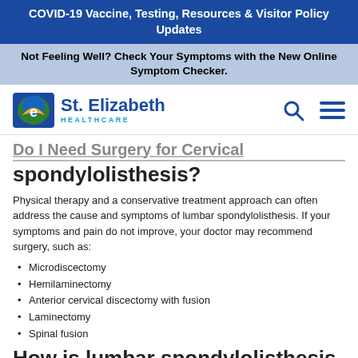COVID-19 Vaccine, Testing, Resources & Visitor Policy Updates
Not Feeling Well? Check Your Symptoms with the New Online Symptom Checker.
[Figure (logo): St. Elizabeth Healthcare logo with search and menu icons]
Do I Need Surgery for Cervical spondylolisthesis?
Physical therapy and a conservative treatment approach can often address the cause and symptoms of lumbar spondylolisthesis. If your symptoms and pain do not improve, your doctor may recommend surgery, such as:
Microdiscectomy
Hemilaminectomy
Anterior cervical discectomy with fusion
Laminectomy
Spinal fusion
How is lumbar spondylolisthesis